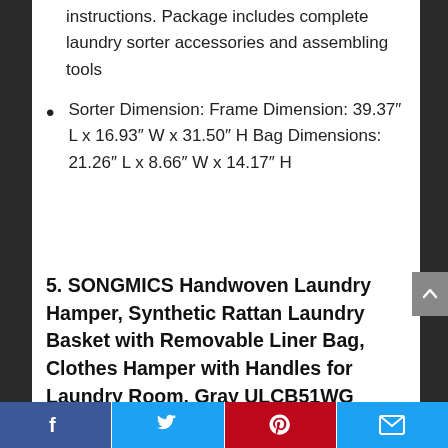instructions. Package includes complete laundry sorter accessories and assembling tools
Sorter Dimension: Frame Dimension: 39.37″ L x 16.93″ W x 31.50″ H Bag Dimensions: 21.26″ L x 8.66″ W x 14.17″ H
5. SONGMICS Handwoven Laundry Hamper, Synthetic Rattan Laundry Basket with Removable Liner Bag, Clothes Hamper with Handles for Laundry Room, Gray ULCB51WG
Facebook | Twitter | Pinterest | Email